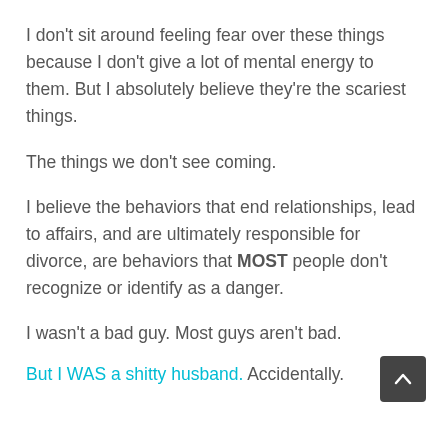I don't sit around feeling fear over these things because I don't give a lot of mental energy to them. But I absolutely believe they're the scariest things.
The things we don't see coming.
I believe the behaviors that end relationships, lead to affairs, and are ultimately responsible for divorce, are behaviors that MOST people don't recognize or identify as a danger.
I wasn't a bad guy. Most guys aren't bad.
But I WAS a shitty husband. Accidentally.